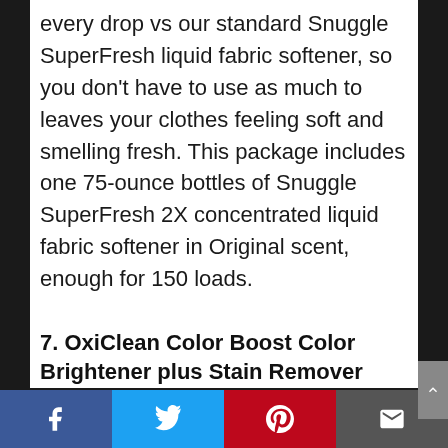every drop vs our standard Snuggle SuperFresh liquid fabric softener, so you don't have to use as much to leaves your clothes feeling soft and smelling fresh. This package includes one 75-ounce bottles of Snuggle SuperFresh 2X concentrated liquid fabric softener in Original scent, enough for 150 loads.
7. OxiClean Color Boost Color Brightener plus Stain Remover Power Paks, 26 Count
Social share bar: Facebook, Twitter, Pinterest, Email